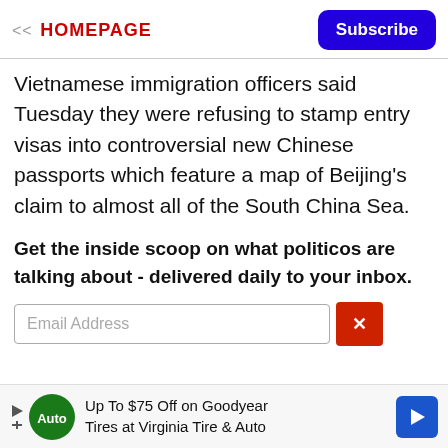<< HOMEPAGE | Subscribe
Vietnamese immigration officers said Tuesday they were refusing to stamp entry visas into controversial new Chinese passports which feature a map of Beijing's claim to almost all of the South China Sea.
Get the inside scoop on what politicos are talking about - delivered daily to your inbox.
[Figure (screenshot): Email address input field with a red close (x) button on the right side]
[Figure (infographic): Advertisement banner: Up To $75 Off on Goodyear Tires at Virginia Tire & Auto, with Tires Plus Auto logo and blue navigation arrow icon]